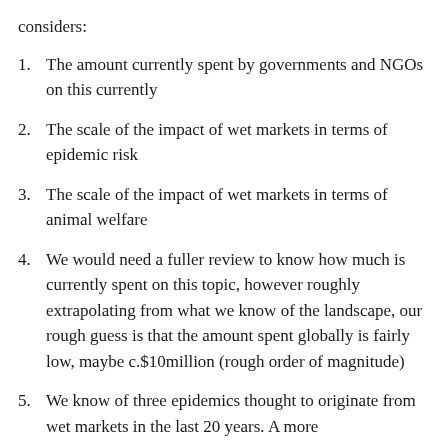considers:
The amount currently spent by governments and NGOs on this currently
The scale of the impact of wet markets in terms of epidemic risk
The scale of the impact of wet markets in terms of animal welfare
We would need a fuller review to know how much is currently spent on this topic, however roughly extrapolating from what we know of the landscape, our rough guess is that the amount spent globally is fairly low, maybe c.$10million (rough order of magnitude)
We know of three epidemics thought to originate from wet markets in the last 20 years. A more